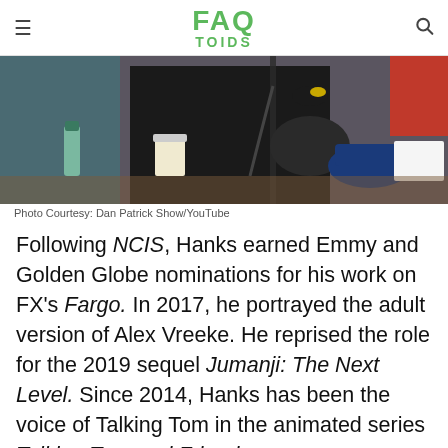FAQ TOIDS
[Figure (photo): Person in a radio/podcast studio setting with microphone and desk setup. Photo Courtesy: Dan Patrick Show/YouTube]
Photo Courtesy: Dan Patrick Show/YouTube
Following NCIS, Hanks earned Emmy and Golden Globe nominations for his work on FX's Fargo. In 2017, he portrayed the adult version of Alex Vreeke. He reprised the role for the 2019 sequel Jumanji: The Next Level. Since 2014, Hanks has been the voice of Talking Tom in the animated series Talking Tom and Friends.